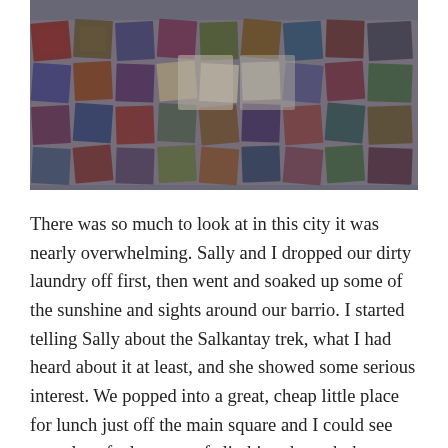[Figure (photo): Aerial or wide-angle photograph of colorful patterned textile or mosaic tiles laid out on a ground surface, viewed from above at an angle. The tiles/textiles appear in various colors including red, blue, purple, beige, and brown, arranged in a grid-like pattern.]
There was so much to look at in this city it was nearly overwhelming. Sally and I dropped our dirty laundry off first, then went and soaked up some of the sunshine and sights around our barrio. I started telling Sally about the Salkantay trek, what I had heard about it at least, and she showed some serious interest. We popped into a great, cheap little place for lunch just off the main square and I could see my tales of adventure of climbing through the most stunning of scenery to reach Machu Picchu were intriguing her. I worked my magic on her and slowly but surely could tell I was convincing her that she needed to join me on this adventure. I definitely